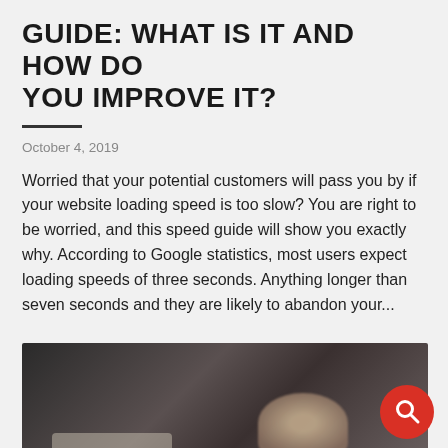GUIDE: WHAT IS IT AND HOW DO YOU IMPROVE IT?
October 4, 2019
Worried that your potential customers will pass you by if your website loading speed is too slow? You are right to be worried, and this speed guide will show you exactly why. According to Google statistics, most users expect loading speeds of three seconds. Anything longer than seven seconds and they are likely to abandon your...
[Figure (photo): Dark blurred photo showing a microphone or recording equipment on a desk surface, partially visible at the bottom of the page. A red circular search/chat button overlaid at bottom right.]